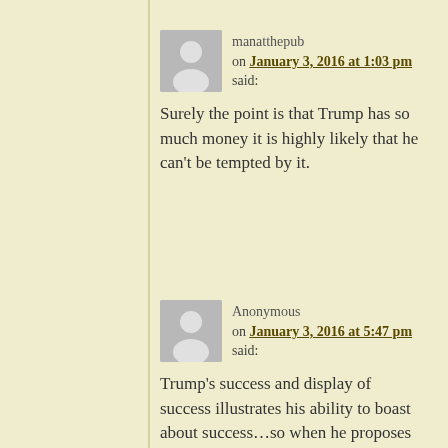manatthepub on January 3, 2016 at 1:03 pm said:
Surely the point is that Trump has so much money it is highly likely that he can't be tempted by it.
Anonymous on January 3, 2016 at 5:47 pm said:
Trump's success and display of success illustrates his ability to boast about success…so when he proposes he can "Make America